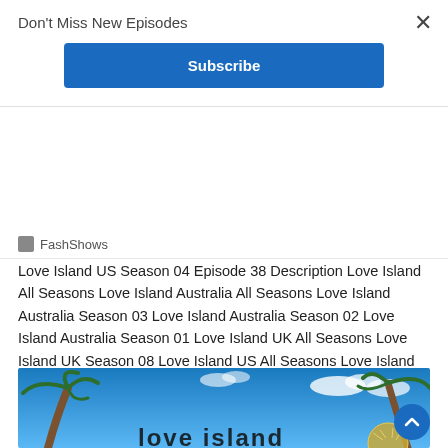Don't Miss New Episodes
Subscribe
FashShows
Love Island US Season 04 Episode 38 Description Love Island All Seasons Love Island Australia All Seasons Love Island Australia Season 03 Love Island Australia Season 02 Love Island Australia Season 01 Love Island UK All Seasons Love Island UK Season 08 Love Island US All Seasons Love Island US Season 04 Episode 01 | [...]
[Figure (photo): Tropical beach scene with palm trees and blue sky, partially showing text 'Love Island' logo at bottom]